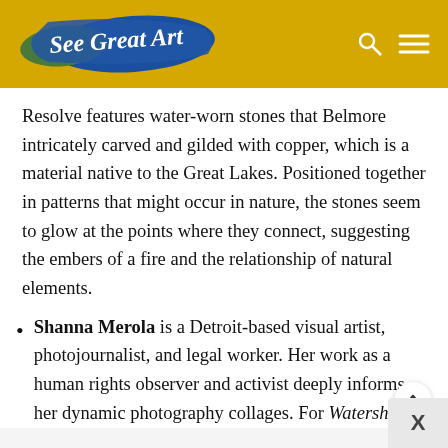See Great Art
Resolve features water-worn stones that Belmore intricately carved and gilded with copper, which is a material native to the Great Lakes. Positioned together in patterns that might occur in nature, the stones seem to glow at the points where they connect, suggesting the embers of a fire and the relationship of natural elements.
Shanna Merola is a Detroit-based visual artist, photojournalist, and legal worker. Her work as a human rights observer and activist deeply informs her dynamic photography collages. For Watershed, she will present new works from her Love Canal series, which foreground the experience of the Love Canal mothers who suffered from miscarriages, cancer, and birth defects as a result of